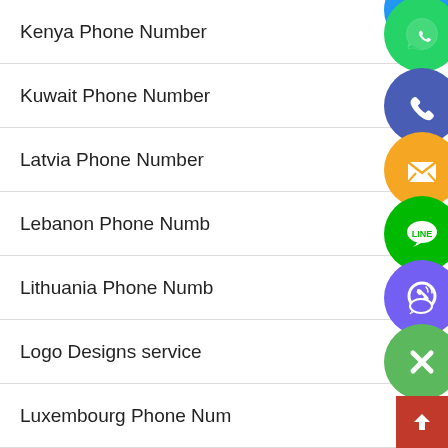Kenya Phone Number
Kuwait Phone Number
Latvia Phone Number
Lebanon Phone Number
Lithuania Phone Number
Logo Designs service
Luxembourg Phone Number
Macedonia Phone Number